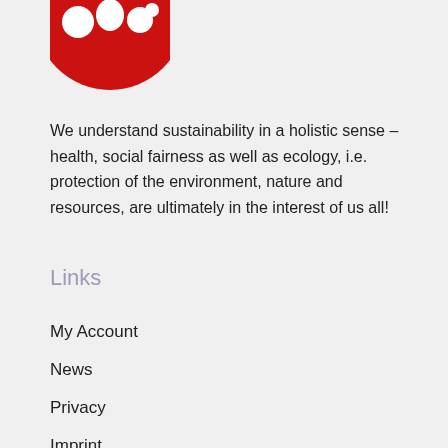[Figure (logo): OBO logo — white circles/shapes on a red circular background, partially cropped at top]
We understand sustainability in a holistic sense – health, social fairness as well as ecology, i.e. protection of the environment, nature and resources, are ultimately in the interest of us all!
Links
My Account
News
Privacy
Imprint
Contact